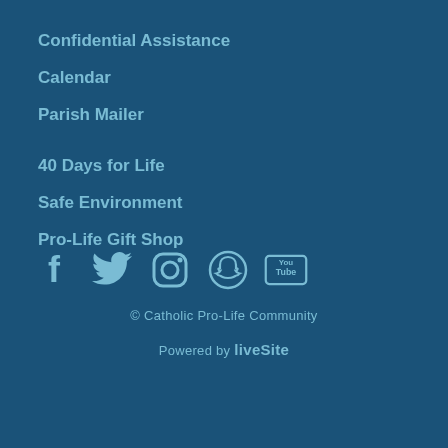Confidential Assistance
Calendar
Parish Mailer
40 Days for Life
Safe Environment
Pro-Life Gift Shop
[Figure (infographic): Social media icons row: Facebook, Twitter, Instagram, Snapchat, YouTube]
© Catholic Pro-Life Community
Powered by liveSite